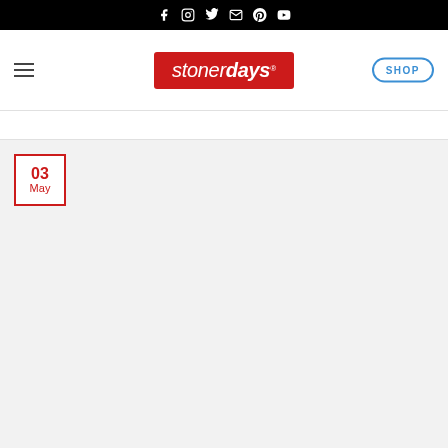Social icons: Facebook, Instagram, Twitter, Email, Pinterest, YouTube
[Figure (logo): StonerDays logo — white italic text on red background with registered trademark symbol]
SHOP
03 May